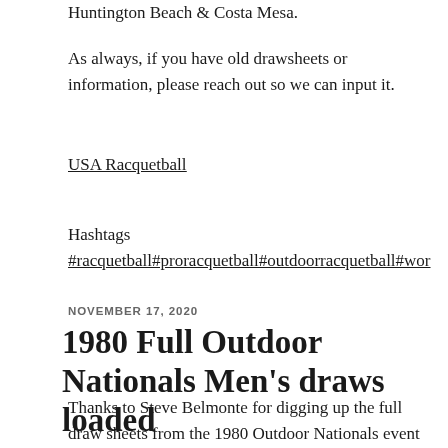Huntington Beach & Costa Mesa.
As always, if you have old drawsheets or information, please reach out so we can input it.
USA Racquetball
Hashtags
#racquetball#proracquetball#outdoorracquetball#wor
NOVEMBER 17, 2020
1980 Full Outdoor Nationals Men's draws loaded
Thanks to Steve Belmonte for digging up the full draw sheets from the 1980 Outdoor Nationals event in Costa Mesa, California. I've loaded the full men's singles and